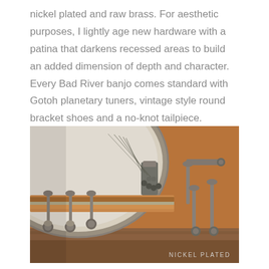nickel plated and raw brass. For aesthetic purposes, I lightly age new hardware with a patina that darkens recessed areas to build an added dimension of depth and character. Every Bad River banjo comes standard with Gotoh planetary tuners, vintage style round bracket shoes and a no-knot tailpiece.
[Figure (photo): Close-up photograph of a banjo head showing the drum skin, metal hoop, bracket hooks, tension rods with knobs, and strings near the tailpiece/bridge area. The hardware appears nickel plated with an aged patina over warm brown wood. A label in the bottom right reads 'NICKEL PLATED'.]